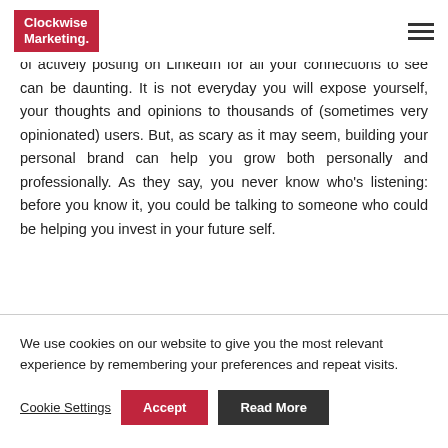Clockwise Marketing
Here comes the tricky part...your personal branding. The idea of actively posting on LinkedIn for all your connections to see can be daunting. It is not everyday you will expose yourself, your thoughts and opinions to thousands of (sometimes very opinionated) users. But, as scary as it may seem, building your personal brand can help you grow both personally and professionally. As they say, you never know who's listening: before you know it, you could be talking to someone who could be helping you invest in your future self.
We use cookies on our website to give you the most relevant experience by remembering your preferences and repeat visits.